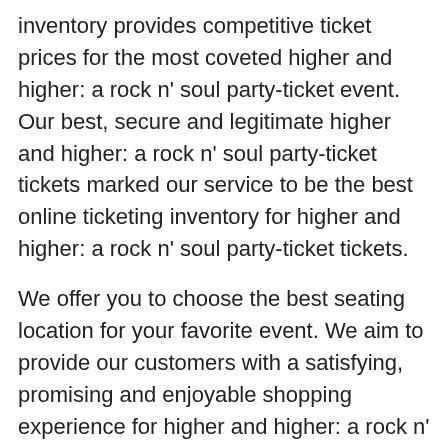inventory provides competitive ticket prices for the most coveted higher and higher: a rock n' soul party-ticket event. Our best, secure and legitimate higher and higher: a rock n' soul party-ticket tickets marked our service to be the best online ticketing inventory for higher and higher: a rock n' soul party-ticket tickets.
We offer you to choose the best seating location for your favorite event. We aim to provide our customers with a satisfying, promising and enjoyable shopping experience for higher and higher: a rock n' soul party-ticket tickets.
Just explore our higher and higher: a rock n' soul party-ticket ticket inventory and you will be amazed to find unbelievable bargains for higher and higher: a rock n' soul party-ticket tickets. We provide you schedules and information for higher and higher: a rock n' soul party-ticket. Whether you just want access to higher and higher: a rock